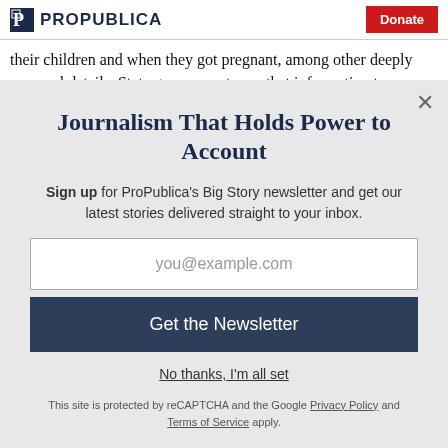ProPublica | Donate
their children and when they got pregnant, among other deeply personal details. State governments use that information to pursue
Journalism That Holds Power to Account
Sign up for ProPublica's Big Story newsletter and get our latest stories delivered straight to your inbox.
you@example.com
Get the Newsletter
No thanks, I'm all set
This site is protected by reCAPTCHA and the Google Privacy Policy and Terms of Service apply.